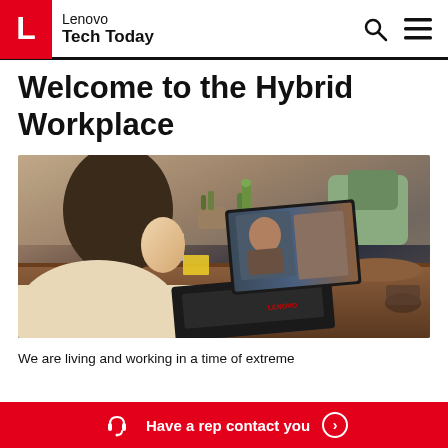Lenovo Tech Today
Welcome to the Hybrid Workplace
[Figure (photo): Woman working on a Lenovo ThinkPad laptop at a cafe table with cacti and plants in the background, showing a video call on screen]
We are living and working in a time of extreme
Have a rep contact you >